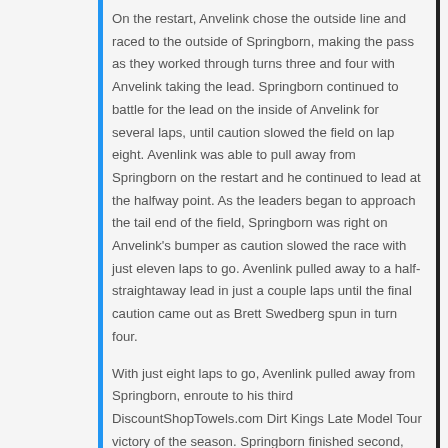On the restart, Anvelink chose the outside line and raced to the outside of Springborn, making the pass as they worked through turns three and four with Anvelink taking the lead. Springborn continued to battle for the lead on the inside of Anvelink for several laps, until caution slowed the field on lap eight. Avenlink was able to pull away from Springborn on the restart and he continued to lead at the halfway point. As the leaders began to approach the tail end of the field, Springborn was right on Anvelink's bumper as caution slowed the race with just eleven laps to go. Avenlink pulled away to a half-straightaway lead in just a couple laps until the final caution came out as Brett Swedberg spun in turn four.
With just eight laps to go, Avenlink pulled away from Springborn, enroute to his third DiscountShopTowels.com Dirt Kings Late Model Tour victory of the season. Springborn finished second, followed by Jason Zdroik in third, after starting tenth. Raddant finished fourth, with Lukas Postl, Tom Naeyaert, Taylor Scheffler, Justin Ritchie, Ron Berna and Justin Green rounding out the top ten.